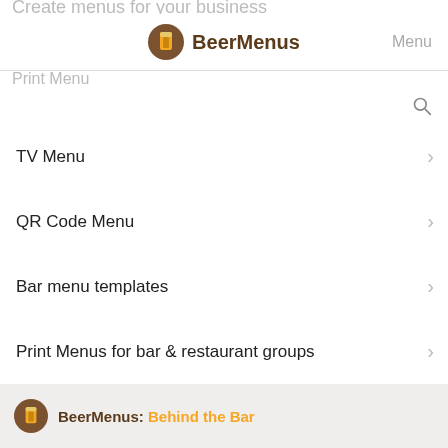BeerMenus | Menu
TV Menu
QR Code Menu
Bar menu templates
Print Menus for bar & restaurant groups
BeerMenus: Behind the Bar
Create a print beer menu with one click
Create a digital beer menu with one click
QR codes: create a QR Menu with one click